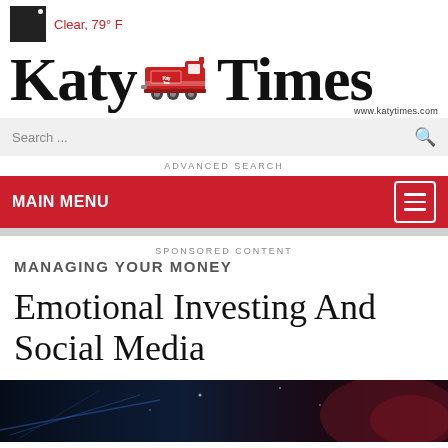Clear, 79° F
Katy Times | www.katytimes.com
Search ...
ADVANCED SEARCH
MAIN MENU
SPONSORED CONTENT
MANAGING YOUR MONEY
Emotional Investing And Social Media
[Figure (photo): Dark abstract background image with blue and red lighting for article illustration]